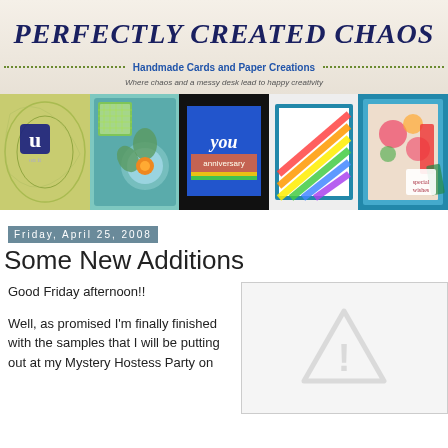[Figure (illustration): Blog header banner for 'Perfectly Created Chaos' showing handmade cards and paper creations with decorative card images]
Friday, April 25, 2008
Some New Additions
Good Friday afternoon!!
Well, as promised I'm finally finished with the samples that I will be putting out at my Mystery Hostess Party on
[Figure (illustration): Broken image placeholder with warning triangle icon]